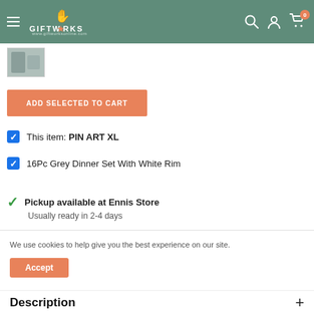GIFTWORKS
[Figure (screenshot): Product thumbnail image partially visible]
ADD SELECTED TO CART
This item: PIN ART XL
16Pc Grey Dinner Set With White Rim
Pickup available at Ennis Store
Usually ready in 2-4 days
We use cookies to help give you the best experience on our site.
Accept
Description